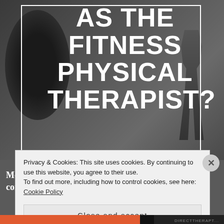[Figure (photo): Dark gym background with weightlifting equipment and a person silhouette, overlaid with large white bold text reading 'AS THE FITNESS PHYSICAL THERAPIST?' inside a white border box]
AS THE FITNESS PHYSICAL THERAPIST?
Merry Christmas!! Quick Post on a fun and controversial topic. Check out this link to my video
Privacy & Cookies: This site uses cookies. By continuing to use this website, you agree to their use.
To find out more, including how to control cookies, see here: Cookie Policy
Close and accept